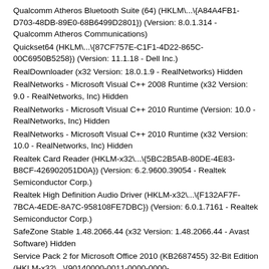Qualcomm Atheros Bluetooth Suite (64) (HKLM\...\{A84A4FB1-D703-48DB-89E0-68B6499D2801}) (Version: 8.0.1.314 - Qualcomm Atheros Communications)
Quickset64 (HKLM\...\{87CF757E-C1F1-4D22-865C-00C6950B5258}) (Version: 11.1.18 - Dell Inc.)
RealDownloader (x32 Version: 18.0.1.9 - RealNetworks) Hidden
RealNetworks - Microsoft Visual C++ 2008 Runtime (x32 Version: 9.0 - RealNetworks, Inc) Hidden
RealNetworks - Microsoft Visual C++ 2010 Runtime (Version: 10.0 - RealNetworks, Inc) Hidden
RealNetworks - Microsoft Visual C++ 2010 Runtime (x32 Version: 10.0 - RealNetworks, Inc) Hidden
Realtek Card Reader (HKLM-x32\...\{5BC2B5AB-80DE-4E83-B8CF-426902051D0A}) (Version: 6.2.9600.39054 - Realtek Semiconductor Corp.)
Realtek High Definition Audio Driver (HKLM-x32\...\{F132AF7F-7BCA-4EDE-8A7C-958108FE7DBC}) (Version: 6.0.1.7161 - Realtek Semiconductor Corp.)
SafeZone Stable 1.48.2066.44 (x32 Version: 1.48.2066.44 - Avast Software) Hidden
Service Pack 2 for Microsoft Office 2010 (KB2687455) 32-Bit Edition (HKLM-x32\...\{90140000-0011-0000-0000-